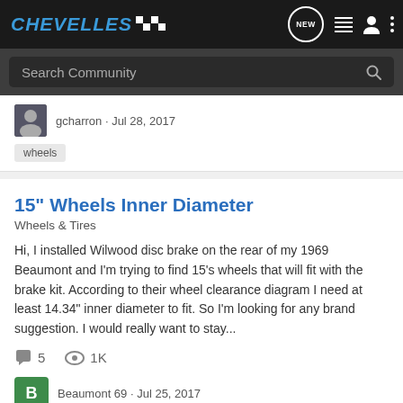CHEVELLES
Search Community
gcharron · Jul 28, 2017
wheels
15" Wheels Inner Diameter
Wheels & Tires
Hi, I installed Wilwood disc brake on the rear of my 1969 Beaumont and I'm trying to find 15's wheels that will fit with the brake kit. According to their wheel clearance diagram I need at least 14.34" inner diameter to fit. So I'm looking for any brand suggestion. I would really want to stay...
5   1K
Beaumont 69 · Jul 25, 2017
wheels